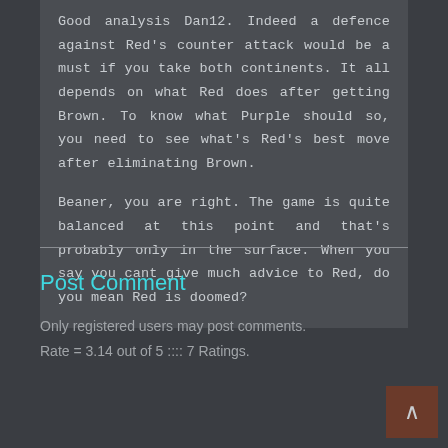Good analysis Dan12. Indeed a defence against Red's counter attack would be a must if you take both continents. It all depends on what Red does after getting Brown. To know what Purple should so, you need to see what's Red's best move after eliminating Brown.

Beaner, you are right. The game is quite balanced at this point and that's probably only in the surface. When you say you cant give much advice to Red, do you mean Red is doomed?
Post Comment
Only registered users may post comments.
Rate = 3.14 out of 5 :::: 7 Ratings.